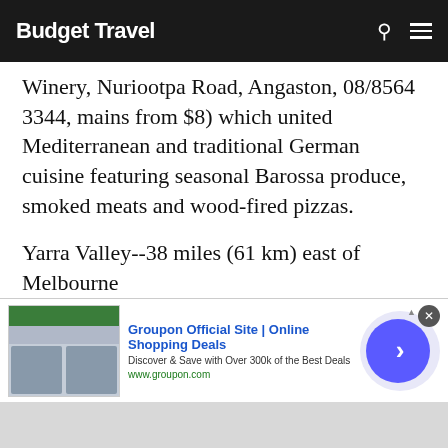Budget Travel
Winery, Nuriootpa Road, Angaston, 08/8564 3344, mains from $8) which united Mediterranean and traditional German cuisine featuring seasonal Barossa produce, smoked meats and wood-fired pizzas.
Yarra Valley--38 miles (61 km) east of Melbourne
At the foot of the striking Dandenong Ranges (and just an hour outside Melbourne) lies one of
[Figure (screenshot): Groupon advertisement banner: 'Groupon Official Site | Online Shopping Deals — Discover & Save with Over 300k of the Best Deals — www.groupon.com' with ad images and navigation arrow]